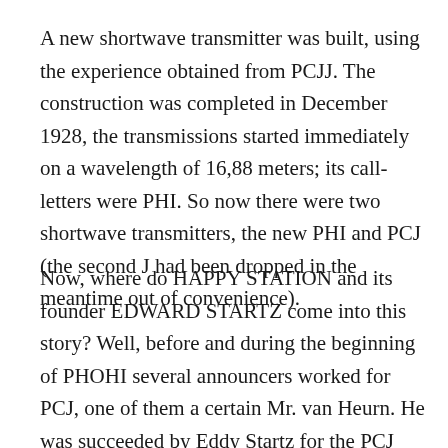A new shortwave transmitter was built, using the experience obtained from PCJJ. The construction was completed in December 1928, the transmissions started immediately on a wavelength of 16,88 meters; its call-letters were PHI. So now there were two shortwave transmitters, the new PHI and PCJ (the second J had been dropped in the meantime out of convenience).
Now, where do HAPPY STATION and its founder EDWARD STARTZ come into this story? Well, before and during the beginning of PHOHI several announcers worked for PCJ, one of them a certain Mr. van Heurn. He was succeeded by Eddy Startz for the PCJ transmissions, once PHOHI got its own transmitter in '28. In 1929 the PHOHI transmissions were stopped...